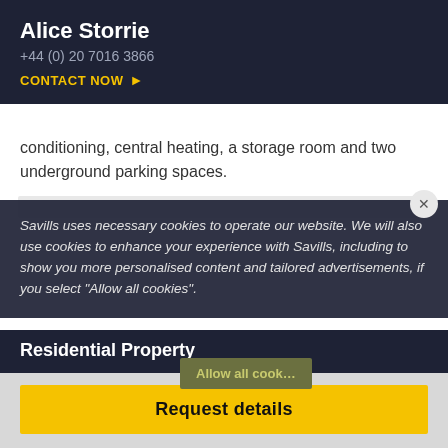Alice Storrie
+44 (0) 20 7016 3866
CONTACT NOW ▶
conditioning, central heating, a storage room and two underground parking spaces.
Savills uses necessary cookies to operate our website. We will also use cookies to enhance your experience with Savills, including to show you more personalised content and tailored advertisements, if you select "Allow all cookies".
Residential Property
FOR SALE
FOR RENT
Property for sale
Property to rent in UK
Property for sale Scotland
Property to rent Scotland
Allow all cookies
Request details